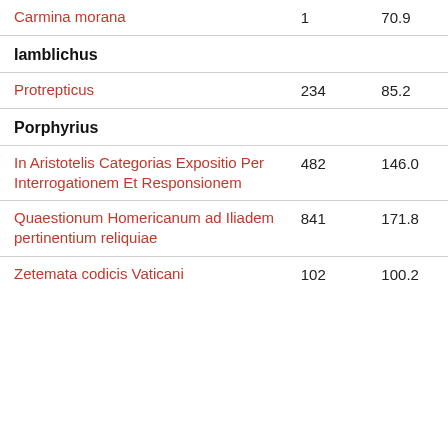| Work |  |  |
| --- | --- | --- |
| Carmina morana | 1 | 70.9 |
| Iamblichus |  |  |
| Protrepticus | 234 | 85.2 |
| Porphyrius |  |  |
| In Aristotelis Categorias Expositio Per Interrogationem Et Responsionem | 482 | 146.0 |
| Quaestionum Homericanum ad Iliadem pertinentium reliquiae | 841 | 171.8 |
| Zetemata codicis Vaticani | 102 | 100.2 |